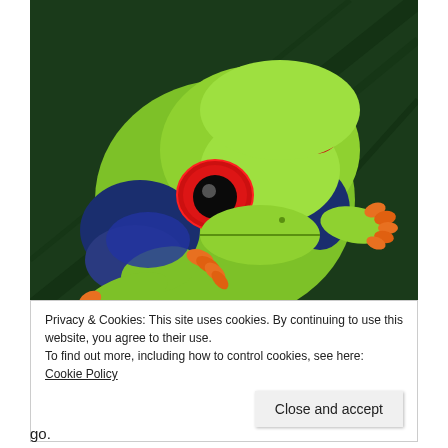[Figure (photo): Close-up photograph of a red-eyed tree frog (Agalychnis callidryas) with bright green body, vivid red eyes, and orange feet, perched on a large dark green leaf.]
Privacy & Cookies: This site uses cookies. By continuing to use this website, you agree to their use.
To find out more, including how to control cookies, see here: Cookie Policy
Close and accept
go.